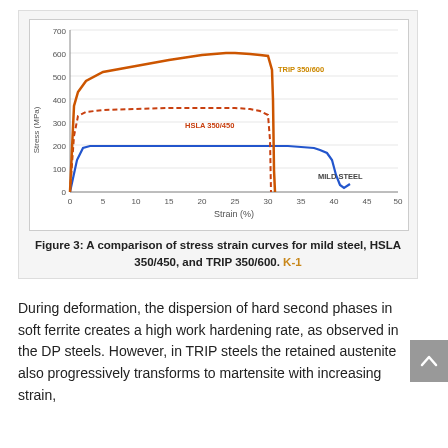[Figure (continuous-plot): Line chart comparing stress-strain curves for three materials: TRIP 350/600 (solid orange, peaks ~600 MPa at ~30% strain), HSLA 350/450 (dashed orange/red, plateaus ~450 MPa at ~25% strain), and Mild Steel (solid blue, plateau ~200 MPa out to ~40% strain). X-axis: Strain (%) from 0 to 50. Y-axis: Stress (MPa) from 0 to 700.]
Figure 3: A comparison of stress strain curves for mild steel, HSLA 350/450, and TRIP 350/600. K-1
During deformation, the dispersion of hard second phases in soft ferrite creates a high work hardening rate, as observed in the DP steels. However, in TRIP steels the retained austenite also progressively transforms to martensite with increasing strain,